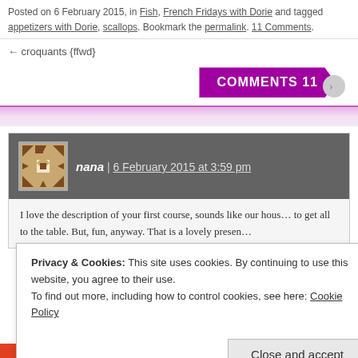Posted on 6 February 2015, in Fish, French Fridays with Dorie and tagged appetizers with Dorie, scallops. Bookmark the permalink. 11 Comments.
← croquants {ffwd}
COMMENTS 11
nana | 6 February 2015 at 3:59 pm
I love the description of your first course, sounds like our hous… to get all to the table. But, fun, anyway. That is a lovely presen…
Privacy & Cookies: This site uses cookies. By continuing to use this website, you agree to their use.
To find out more, including how to control cookies, see here: Cookie Policy
Close and accept